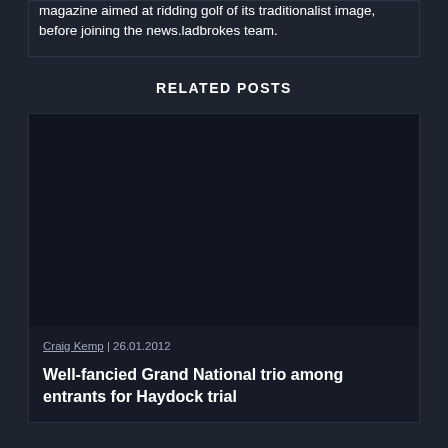magazine aimed at ridding golf of its traditionalist image, before joining the news.ladbrokes team.
RELATED POSTS
[Figure (photo): Dark placeholder image for related post card]
Craig Kemp | 26.01.2012
Well-fancied Grand National trio among entrants for Haydock trial